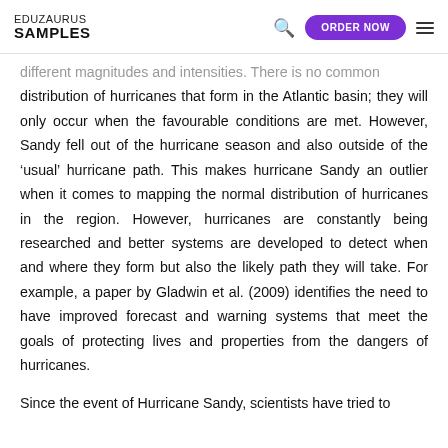EDUZAURUS SAMPLES | ORDER NOW
different magnitudes and intensities. There is no common distribution of hurricanes that form in the Atlantic basin; they will only occur when the favourable conditions are met. However, Sandy fell out of the hurricane season and also outside of the 'usual' hurricane path. This makes hurricane Sandy an outlier when it comes to mapping the normal distribution of hurricanes in the region. However, hurricanes are constantly being researched and better systems are developed to detect when and where they form but also the likely path they will take. For example, a paper by Gladwin et al. (2009) identifies the need to have improved forecast and warning systems that meet the goals of protecting lives and properties from the dangers of hurricanes.
Since the event of Hurricane Sandy, scientists have tried to